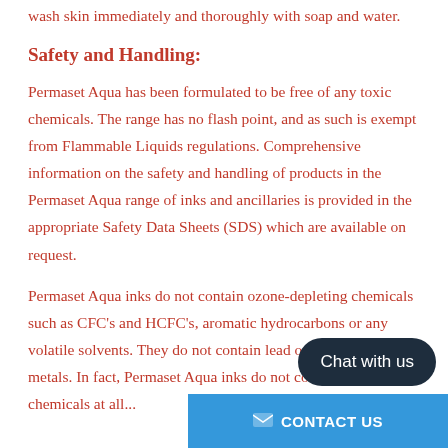wash skin immediately and thoroughly with soap and water.
Safety and Handling:
Permaset Aqua has been formulated to be free of any toxic chemicals. The range has no flash point, and as such is exempt from Flammable Liquids regulations. Comprehensive information on the safety and handling of products in the Permaset Aqua range of inks and ancillaries is provided in the appropriate Safety Data Sheets (SDS) which are available on request.
Permaset Aqua inks do not contain ozone-depleting chemicals such as CFC's and HCFC's, aromatic hydrocarbons or any volatile solvents. They do not contain lead or any heavy metals. In fact, Permaset Aqua inks do not contain any toxic chemicals at all...